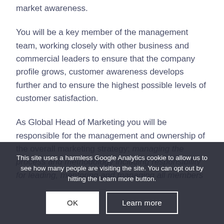market awareness.
You will be a key member of the management team, working closely with other business and commercial leaders to ensure that the company profile grows, customer awareness develops further and to ensure the highest possible levels of customer satisfaction.
As Global Head of Marketing you will be responsible for the management and ownership of the overall marketing strategy; managing the process and methodology including responsibility for leading, mentoring and managing all members
This site uses a harmless Google Analytics cookie to allow us to see how many people are visiting the site. You can opt out by hitting the Learn more button.
OK
Learn more